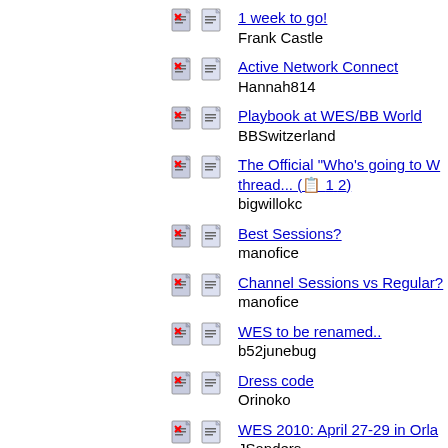1 week to go! — Frank Castle
Active Network Connect — Hannah814
Playbook at WES/BB World — BBSwitzerland
The Official "Who's going to W thread... (1 2) — bigwillokc
Best Sessions? — manofice
Channel Sessions vs Regular? — manofice
WES to be renamed.. — b52junebug
Dress code — Orinoko
WES 2010: April 27-29 in Orla — JSanders